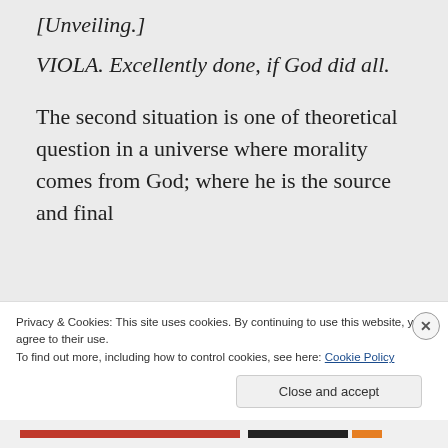[Unveiling.]
VIOLA. Excellently done, if God did all.
The second situation is one of theoretical question in a universe where morality comes from God; where he is the source and final
Privacy & Cookies: This site uses cookies. By continuing to use this website, you agree to their use.
To find out more, including how to control cookies, see here: Cookie Policy
Close and accept